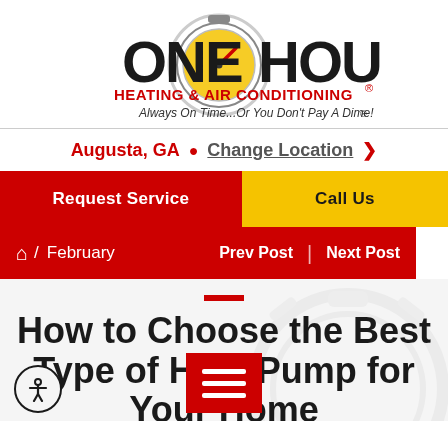[Figure (logo): One Hour Heating & Air Conditioning logo with stopwatch graphic. Text reads ONE HOUR HEATING & AIR CONDITIONING Always On Time...Or You Don't Pay A Dime!]
Augusta, GA  Change Location >
Request Service
Call Us
/ February  Prev Post | Next Post
How to Choose the Best Type of Heat Pump for Your Home